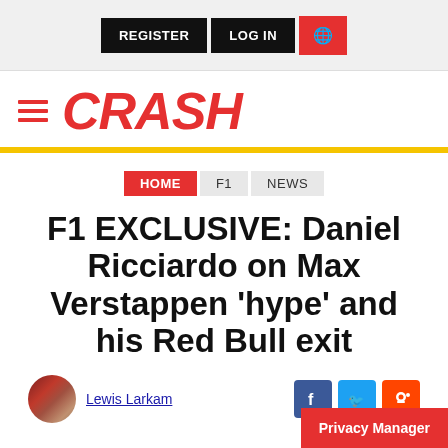REGISTER  LOG IN  [globe icon]
[Figure (logo): CRASH logo with hamburger menu icon]
HOME  F1  NEWS
F1 EXCLUSIVE: Daniel Ricciardo on Max Verstappen 'hype' and his Red Bull exit
Lewis Larkam
[Figure (infographic): Social share icons: Facebook, Twitter, Reddit]